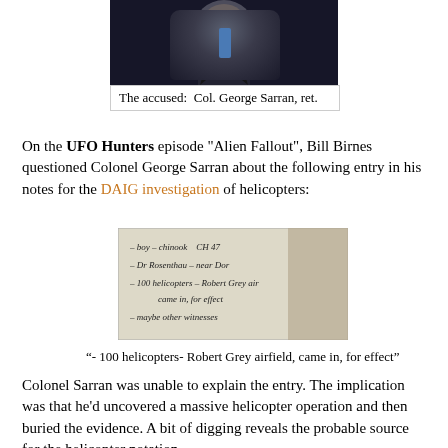[Figure (photo): Portrait photo of Col. George Sarran, ret., a man in a dark suit with a blue tie]
The accused:  Col. George Sarran, ret.
On the UFO Hunters episode "Alien Fallout", Bill Birnes questioned Colonel George Sarran about the following entry in his notes for the DAIG investigation of helicopters:
[Figure (photo): Handwritten notes showing: boy - chinook CH 47, Dr Rosenthau - near Dor, 100 helicopters - Robert Grey airfield, came in, for effect, maybe other witnesses]
“- 100 helicopters- Robert Grey airfield, came in, for effect”
Colonel Sarran was unable to explain the entry. The implication was that he'd uncovered a massive helicopter operation and then buried the evidence. A bit of digging reveals the probable source for the helicopter notation.
According to October 1982 issue of the MUFON Journal article